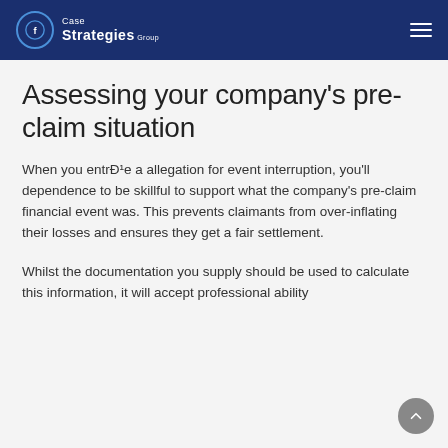Case Strategies Group
Assessing your company's pre-claim situation
When you entrÐ¹e a allegation for event interruption, you'll dependence to be skillful to support what the company's pre-claim financial event was. This prevents claimants from over-inflating their losses and ensures they get a fair settlement.
Whilst the documentation you supply should be used to calculate this information, it will accept professional ability...